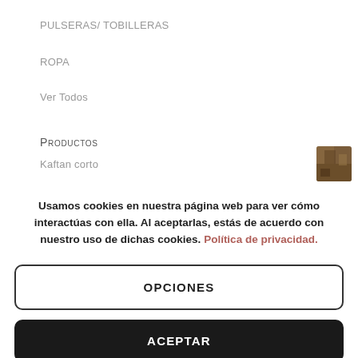PULSERAS/ TOBILLERAS
ROPA
Ver Todos
Productos
Kaftan corto
Usamos cookies en nuestra página web para ver cómo interactúas con ella. Al aceptarlas, estás de acuerdo con nuestro uso de dichas cookies. Política de privacidad.
OPCIONES
ACEPTAR